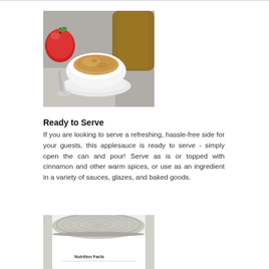[Figure (photo): A white bowl of applesauce on a white saucer with a spoon, a red apple on the left, and a brown bottle/jar in the background, on a gray surface with a cloth napkin.]
Ready to Serve
If you are looking to serve a refreshing, hassle-free side for your guests, this applesauce is ready to serve - simply open the can and pour! Serve as is or topped with cinnamon and other warm spices, or use as an ingredient in a variety of sauces, glazes, and baked goods.
[Figure (photo): Top view of a large metal can with a white label reading 'Nutrition Facts' at the bottom, showing the lid with concentric rings.]